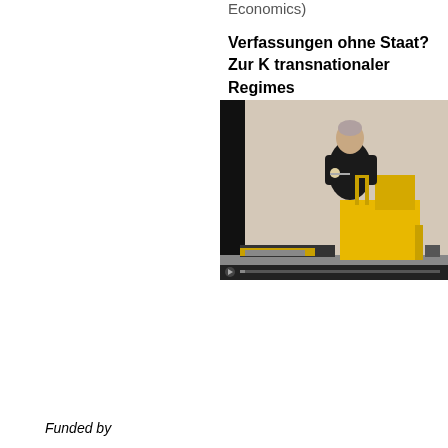Economics)
Verfassungen ohne Staat? Zur K transnationaler Regimes
[Figure (photo): A man in a black outfit standing at a podium with yellow equipment/furniture, appearing to give a lecture or presentation in a room with light-colored walls. Video player interface visible at the bottom.]
Funded by